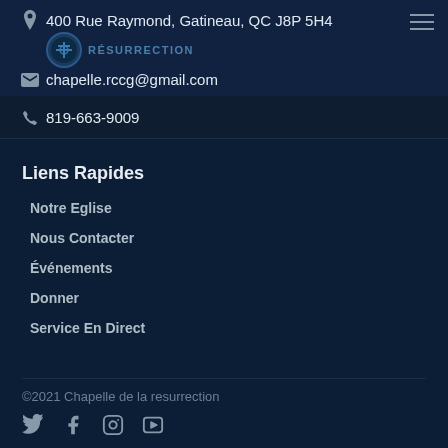400 Rue Raymond, Gatineau, QC J8P 5H4
chapelle.rccg@gmail.com
819-663-9009
Liens Rapides
Notre Eglise
Nous Contacter
Événements
Donner
Service En Direct
©2021 Chapelle de la resurrection